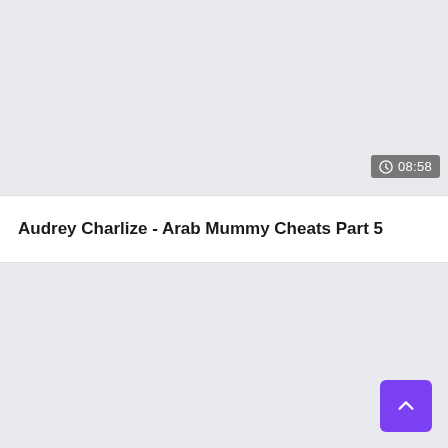[Figure (screenshot): Video thumbnail placeholder area with light gray background]
08:58
Audrey Charlize - Arab Mummy Cheats Part 5
[Figure (other): Light gray content area below the title bar]
Scroll to top button (purple arrow up)